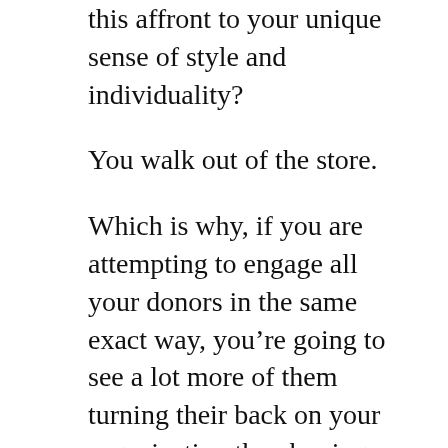this affront to your unique sense of style and individuality?
You walk out of the store.
Which is why, if you are attempting to engage all your donors in the same exact way, you’re going to see a lot more of them turning their back on your organization than buying what you’re selling.
In 1994, a team of social scientists conducted a study to determine what motivates an individual’s interest in and support for a nonprofit organization. Their research concluded that donors fall into seven distinct groups, which they